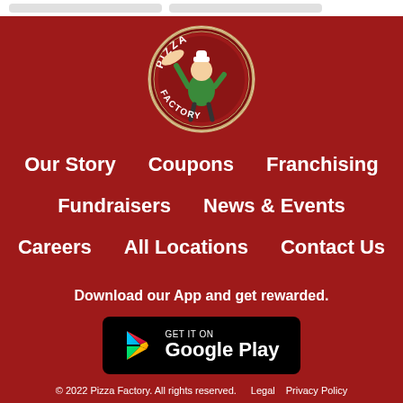[Figure (logo): Pizza Factory circular logo with cartoon pizza chef tossing dough, red and white text around the border reading PIZZA FACTORY]
Our Story
Coupons
Franchising
Fundraisers
News & Events
Careers
All Locations
Contact Us
Download our App and get rewarded.
[Figure (other): GET IT ON Google Play badge — black rounded rectangle with Google Play triangle icon and text]
© 2022 Pizza Factory. All rights reserved.   Legal   Privacy Policy